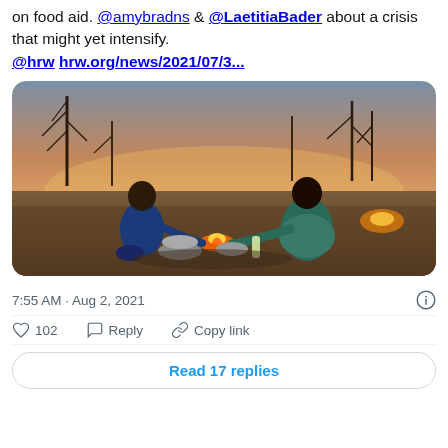on food aid. @amybradns & @LaetitiaBader about a crisis that might yet intensify.
@hrw hrw.org/news/2021/07/3...
[Figure (photo): Two people cooking over an open fire outdoors at dusk/sunset, with dry barren landscape and trees in background. One person in blue shirt on left, one in blue patterned dress on right, with pots and bottles around them.]
7:55 AM · Aug 2, 2021
102   Reply   Copy link
Read 17 replies